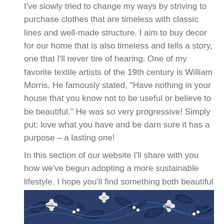I've slowly tried to change my ways by striving to purchase clothes that are timeless with classic lines and well-made structure. I aim to buy decor for our home that is also timeless and tells a story, one that I'll never tire of hearing. One of my favorite textile artists of the 19th century is William Morris. He famously stated, “Have nothing in your house that you know not to be useful or believe to be beautiful.” He was so very progressive! Simply put: love what you have and be darn sure it has a purpose – a lasting one!
In this section of our website I’ll share with you how we’ve begun adopting a more sustainable lifestyle. I hope you’ll find something both beautiful to adopt and useful to implement in your own home.
[Figure (illustration): Bottom portion of a decorative William Morris-style textile pattern in dark navy blue with white floral and botanical motifs, partially visible at the bottom of the page.]